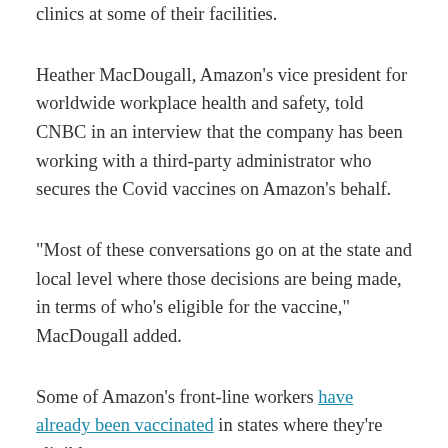clinics at some of their facilities.
Heather MacDougall, Amazon's vice president for worldwide workplace health and safety, told CNBC in an interview that the company has been working with a third-party administrator who secures the Covid vaccines on Amazon's behalf.
“Most of these conversations go on at the state and local level where those decisions are being made, in terms of who’s eligible for the vaccine,” MacDougall added.
Some of Amazon’s front-line workers have already been vaccinated in states where they’re eligible.
The company has nudged its front-line workers to get vaccinated off-site by offering them a bonus of up to $80